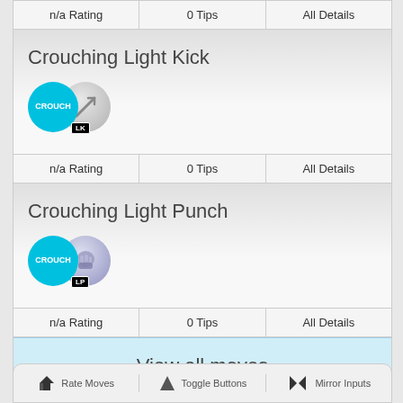| n/a Rating | 0 Tips | All Details |
| --- | --- | --- |
Crouching Light Kick
[Figure (illustration): CROUCH button (cyan circle) plus LK attack button (grey circle with kick icon and LK badge)]
| n/a Rating | 0 Tips | All Details |
| --- | --- | --- |
Crouching Light Punch
[Figure (illustration): CROUCH button (cyan circle) plus LP attack button (purple-grey circle with fist icon and LP badge)]
| n/a Rating | 0 Tips | All Details |
| --- | --- | --- |
View all moves
Rate Moves  Toggle Buttons  Mirror Inputs